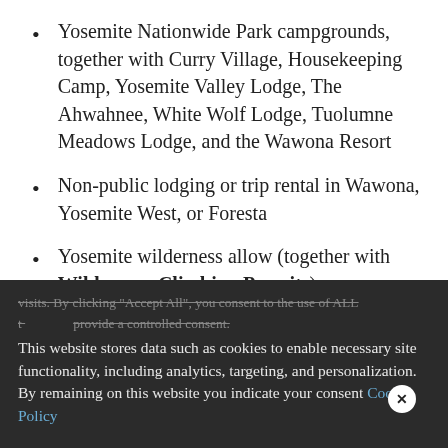Yosemite Nationwide Park campgrounds, together with Curry Village, Housekeeping Camp, Yosemite Valley Lodge, The Ahwahnee, White Wolf Lodge, Tuolumne Meadows Lodge, and the Wawona Resort
Non-public lodging or trip rental in Wawona, Yosemite West, or Foresta
Yosemite wilderness allow (together with Wilderness Climbing Permits)
We use cookies on our website to give you the most relevant experience by remembering your preferences and repeat visits. By clicking "Accept All", you consent to the use of ALL t... provide a controlled consent.
This website stores data such as cookies to enable necessary site functionality, including analytics, targeting, and personalization. By remaining on this website you indicate your consent Cookie Policy